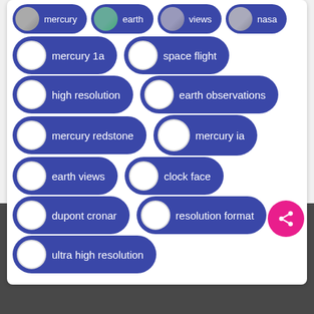[Figure (screenshot): Tag cloud / pill list with thumbnail images and white circles, showing tags: mercury, earth, views, nasa, mercury 1a, space flight, high resolution, earth observations, mercury redstone, mercury ia, earth views, clock face, dupont cronar, resolution format, ultra high resolution]
NARA & DVIDS Public Domain Archive
[Figure (infographic): Footer with social media icons: Facebook, Twitter/X, LinkedIn, Instagram, Pinterest, Tumblr]